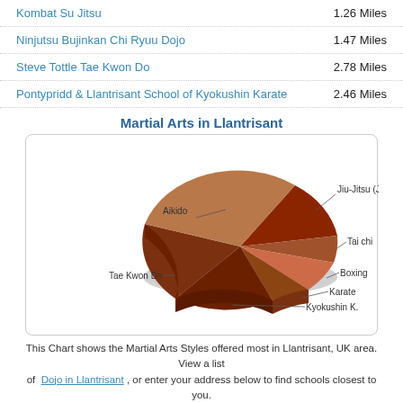Kombat Su Jitsu — 1.26 Miles
Ninjutsu Bujinkan Chi Ryuu Dojo — 1.47 Miles
Steve Tottle Tae Kwon Do — 2.78 Miles
Pontypridd & Llantrisant School of Kyokushin Karate — 2.46 Miles
Martial Arts in Llantrisant
[Figure (pie-chart): Martial Arts in Llantrisant]
This Chart shows the Martial Arts Styles offered most in Llantrisant, UK area. View a list of Dojo in Llantrisant, or enter your address below to find schools closest to you.
Find Dojo: Enter Complete Address or City GO